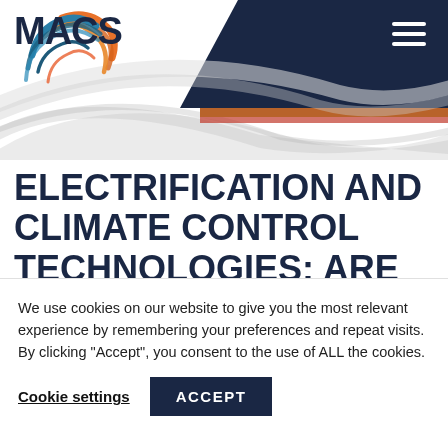[Figure (logo): MACS logo with circular swoosh icon in orange, red, and blue/teal colors, with bold dark navy MACS text]
ELECTRIFICATION AND CLIMATE CONTROL TECHNOLOGIES: ARE WE
We use cookies on our website to give you the most relevant experience by remembering your preferences and repeat visits. By clicking "Accept", you consent to the use of ALL the cookies.
Cookie settings   ACCEPT